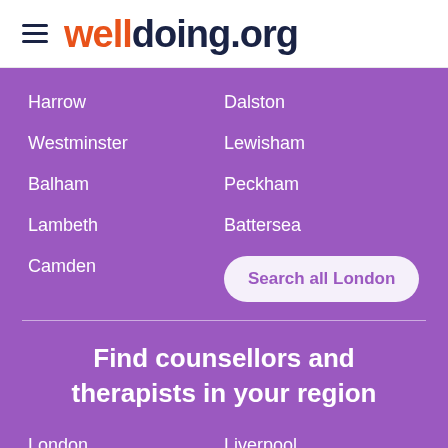welldoing.org
Harrow
Dalston
Westminster
Lewisham
Balham
Peckham
Lambeth
Battersea
Camden
Search all London
Find counsellors and therapists in your region
London
Liverpool
Manchester
Sheffield